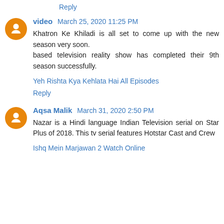Reply
video March 25, 2020 11:25 PM
Khatron Ke Khiladi is all set to come up with the new season very soon.
based television reality show has completed their 9th season successfully.
Yeh Rishta Kya Kehlata Hai All Episodes
Reply
Aqsa Malik March 31, 2020 2:50 PM
Nazar is a Hindi language Indian Television serial on Star Plus of 2018. This tv serial features Hotstar Cast and Crew
Ishq Mein Marjawan 2 Watch Online